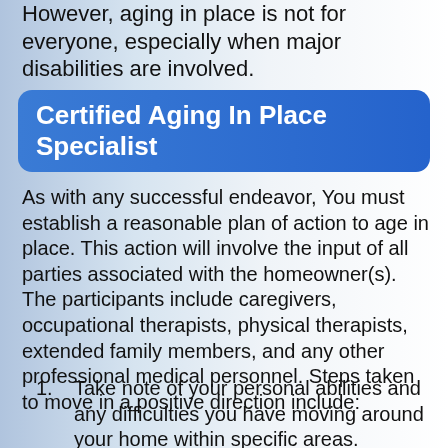However, aging in place is not for everyone, especially when major disabilities are involved.
Certified Aging In Place Specialist
As with any successful endeavor, You must establish a reasonable plan of action to age in place. This action will involve the input of all parties associated with the homeowner(s). The participants include caregivers, occupational therapists, physical therapists, extended family members, and any other professional medical personnel. Steps taken to move in a positive direction include:
Take note of your personal abilities and any difficulties you have moving around your home within specific areas.